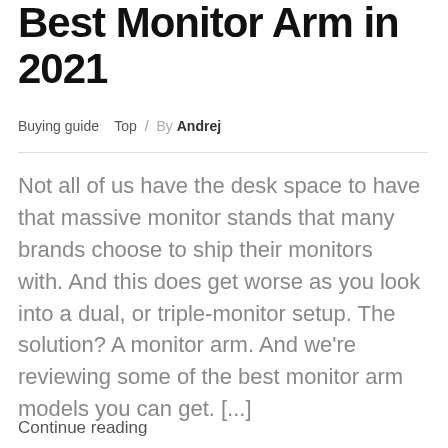Best Monitor Arm in 2021
Buying guide   Top / By Andrej
Not all of us have the desk space to have that massive monitor stands that many brands choose to ship their monitors with. And this does get worse as you look into a dual, or triple-monitor setup. The solution? A monitor arm. And we’re reviewing some of the best monitor arm models you can get. [...]
Continue reading